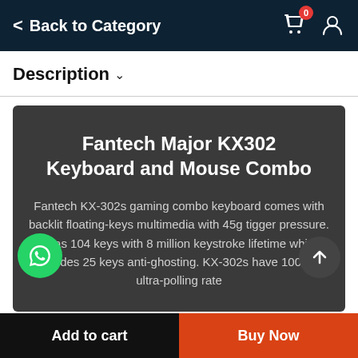Back to Category
Description
Fantech Major KX302 Keyboard and Mouse Combo
Fantech KX-302s gaming combo keyboard comes with backlit floating-keys multimedia with 45g tigger pressure. It has 104 keys with 8 million keystroke lifetime which includes 25 keys anti-ghosting. KX-302s have 1000Hz ultra-polling rate
Add to cart  |  Buy Now